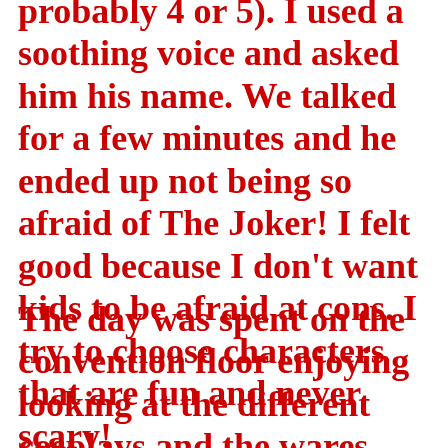probably 4 or 5). I used a soothing voice and asked him his name. We talked for a few minutes and he ended up not being so afraid of The Joker! I felt good because I don't want kids to be afraid at cons. I try to choose characters that are fun and never scary!
The day was spent on the convention floor enjoying looking at the different cosplays and the wares available for purchase. I do a little shopping on Day One but mostly scope out